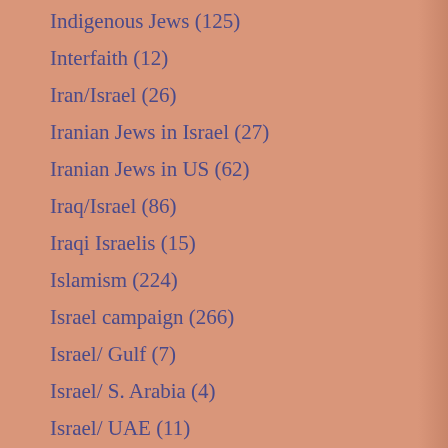Indigenous Jews (125)
Interfaith (12)
Iran/Israel (26)
Iranian Jews in Israel (27)
Iranian Jews in US (62)
Iraq/Israel (86)
Iraqi Israelis (15)
Islamism (224)
Israel campaign (266)
Israel/ Gulf (7)
Israel/ S. Arabia (4)
Israel/ UAE (11)
Israel/Bahrain (8)
Israel/Libya (15)
Israel/Syria (3)
Israel/Tunisia (38)
Israel/Turkey (1)
Jewish archives (214)